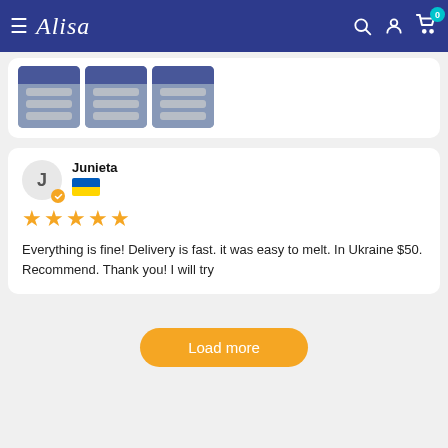Alisa
[Figure (screenshot): Three product thumbnail images showing electrical components/switches on a white card]
Junieta
★★★★★
Everything is fine! Delivery is fast. it was easy to melt. In Ukraine $50. Recommend. Thank you! I will try
Load more